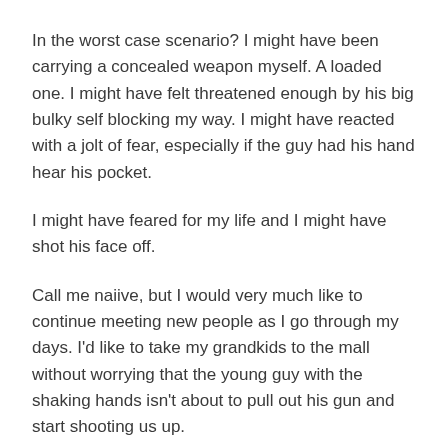In the worst case scenario? I might have been carrying a concealed weapon myself. A loaded one. I might have felt threatened enough by his big bulky self blocking my way. I might have reacted with a jolt of fear, especially if the guy had his hand hear his pocket.
I might have feared for my life and I might have shot his face off.
Call me naiive, but I would very much like to continue meeting new people as I go through my days. I'd like to take my grandkids to the mall without worrying that the young guy with the shaking hands isn't about to pull out his gun and start shooting us up.
#GunControlNow